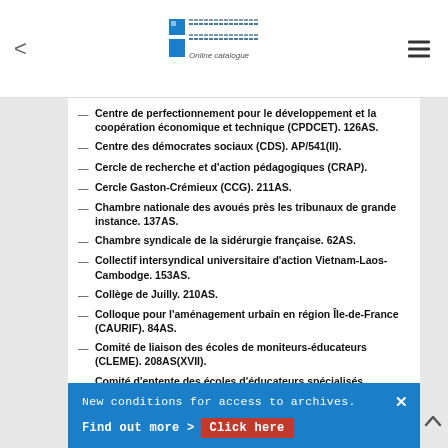Archives Nationales Online catalogue
Centre de perfectionnement pour le développement et la coopération économique et technique (CPDCET). 126AS.
Centre des démocrates sociaux (CDS). AP/541(II).
Cercle de recherche et d'action pédagogiques (CRAP).
Cercle Gaston-Crémieux (CCG). 211AS.
Chambre nationale des avoués près les tribunaux de grande instance. 137AS.
Chambre syndicale de la sidérurgie française. 62AS.
Collectif intersyndical universitaire d'action Vietnam-Laos-Cambodge. 153AS.
Collège de Juilly. 210AS.
Colloque pour l'aménagement urbain en région Île-de-France (CAURIF). 84AS.
Comité de liaison des écoles de moniteurs-éducateurs (CLEME). 208AS(XVII).
Comité d'entente des écoles d'éducateurs spécialisés. 208AS(V).
Comité national pour les musulmans français (CNMF). 149AS.
New conditions for access to archives. Find out more > Click here